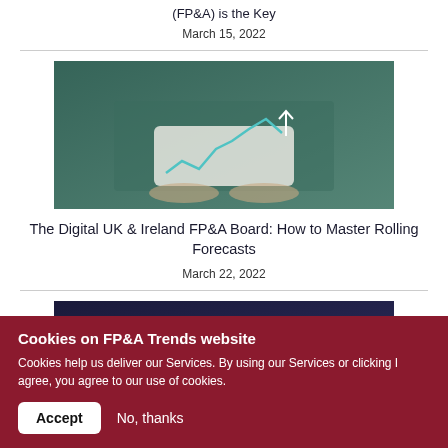(FP&A) is the Key
March 15, 2022
[Figure (photo): Person holding a tablet with a rising line chart graphic overlay]
The Digital UK & Ireland FP&A Board: How to Master Rolling Forecasts
March 22, 2022
[Figure (photo): Dark technology image with circuit board and cloud icon]
Cookies on FP&A Trends website
Cookies help us deliver our Services. By using our Services or clicking I agree, you agree to our use of cookies.